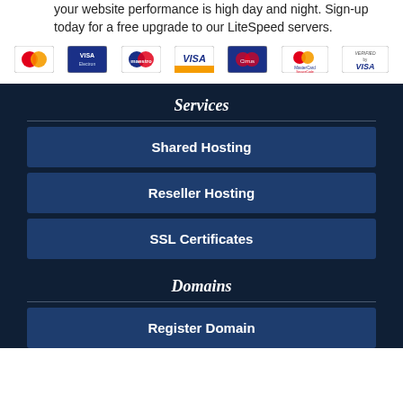your website performance is high day and night. Sign-up today for a free upgrade to our LiteSpeed servers.
[Figure (logo): Payment method logos: Mastercard, VISA Electron, Maestro, VISA, Cirrus, MasterCard SecureCode, Verified by VISA]
Services
Shared Hosting
Reseller Hosting
SSL Certificates
Domains
Register Domain